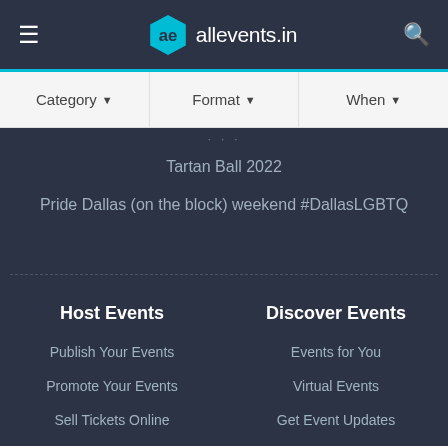allevents.in
Category ▾   Format ▾   When ▾
Tartan Ball 2022
Pride Dallas (on the block) weekend #DallasLGBTQ
Host Events
Discover Events
Publish Your Events
Events for You
Promote Your Events
Virtual Events
Sell Tickets Online
Get Event Updates